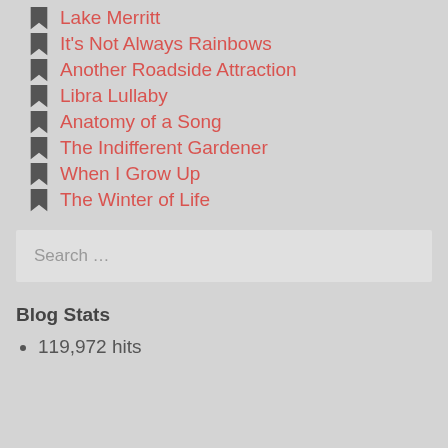Lake Merritt
It's Not Always Rainbows
Another Roadside Attraction
Libra Lullaby
Anatomy of a Song
The Indifferent Gardener
When I Grow Up
The Winter of Life
Search …
Blog Stats
119,972 hits